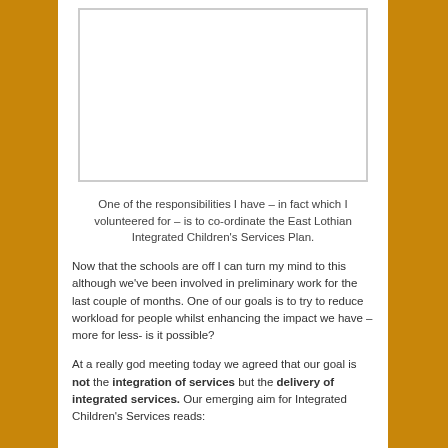[Figure (photo): White empty image box at the top of the white content area]
One of the responsibilities I have – in fact which I volunteered for – is to co-ordinate the East Lothian Integrated Children's Services Plan.
Now that the schools are off I can turn my mind to this although we've been involved in preliminary work for the last couple of months. One of our goals is to try to reduce workload for people whilst enhancing the impact we have – more for less- is it possible?
At a really god meeting today we agreed that our goal is not the integration of services but the delivery of integrated services. Our emerging aim for Integrated Children's Services reads: